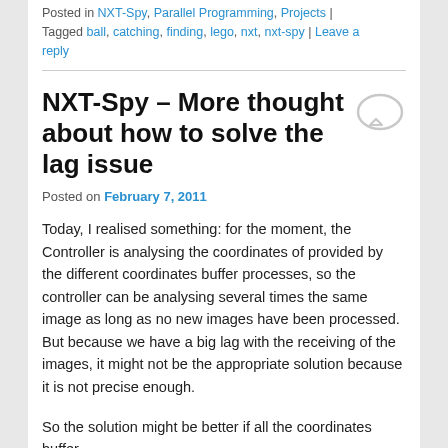Posted in NXT-Spy, Parallel Programming, Projects | Tagged ball, catching, finding, lego, nxt, nxt-spy | Leave a reply
NXT-Spy – More thought about how to solve the lag issue
Posted on February 7, 2011
Today, I realised something: for the moment, the Controller is analysing the coordinates of provided by the different coordinates buffer processes, so the controller can be analysing several times the same image as long as no new images have been processed.
But because we have a big lag with the receiving of the images, it might not be the appropriate solution because it is not precise enough.
So the solution might be better if all the coordinates buffer